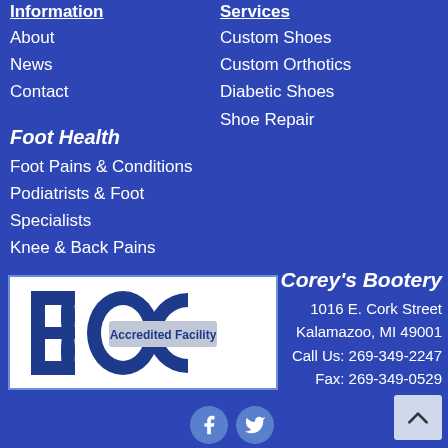Information
About
News
Contact
Services
Custom Shoes
Custom Orthotics
Diabetic Shoes
Shoe Repair
Foot Health
Foot Pains & Conditions
Podiatrists & Foot Specialists
Knee & Back Pains
[Figure (logo): BOC Accredited Facility logo in blue and white]
Corey's Bootery
1016 E. Cork Street
Kalamazoo, MI 49001
Call Us: 269-349-2247
Fax: 269-349-0529